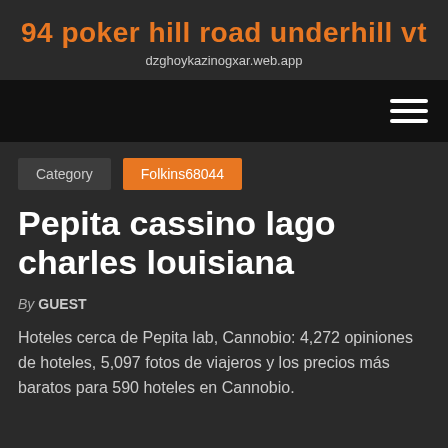94 poker hill road underhill vt
dzghoykazinogxar.web.app
Pepita cassino lago charles louisiana
By GUEST
Hoteles cerca de Pepita lab, Cannobio: 4,272 opiniones de hoteles, 5,097 fotos de viajeros y los precios más baratos para 590 hoteles en Cannobio.